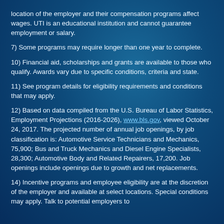location of the employer and their compensation programs affect wages. UTI is an educational institution and cannot guarantee employment or salary.
7) Some programs may require longer than one year to complete.
10) Financial aid, scholarships and grants are available to those who qualify. Awards vary due to specific conditions, criteria and state.
11) See program details for eligibility requirements and conditions that may apply.
12) Based on data compiled from the U.S. Bureau of Labor Statistics, Employment Projections (2016-2026), www.bls.gov, viewed October 24, 2017. The projected number of annual job openings, by job classification is: Automotive Service Technicians and Mechanics, 75,900; Bus and Truck Mechanics and Diesel Engine Specialists, 28,300; Automotive Body and Related Repairers, 17,200. Job openings include openings due to growth and net replacements.
14) Incentive programs and employee eligibility are at the discretion of the employer and available at select locations. Special conditions may apply. Talk to potential employers to